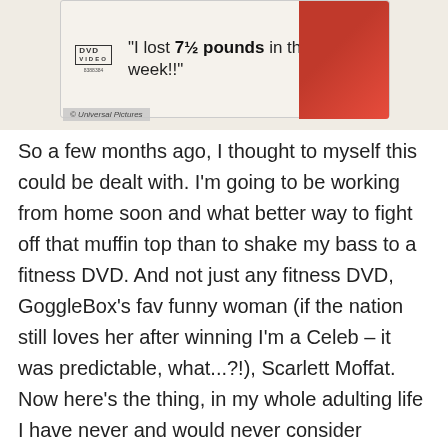[Figure (photo): DVD cover image showing a quote '"I lost 7½ pounds in the first week!!"' with a DVD logo and barcode on the left, and a person in red on the right. © Universal Pictures watermark at bottom left of image.]
So a few months ago, I thought to myself this could be dealt with. I'm going to be working from home soon and what better way to fight off that muffin top than to shake my bass to a fitness DVD. And not just any fitness DVD, GoggleBox's fav funny woman (if the nation still loves her after winning I'm a Celeb – it was predictable, what...?!), Scarlett Moffat. Now here's the thing, in my whole adulting life I have never and would never consider succumbing to the world of fitness DVDs because let's be honest, they're a load of shit. Hear me out... whilst Scarlett stands in front of some scales, crying about her weight and the shock of how she's got there, although real to everyone out there, she didn't do this fitness DVD for fun, she did it all for